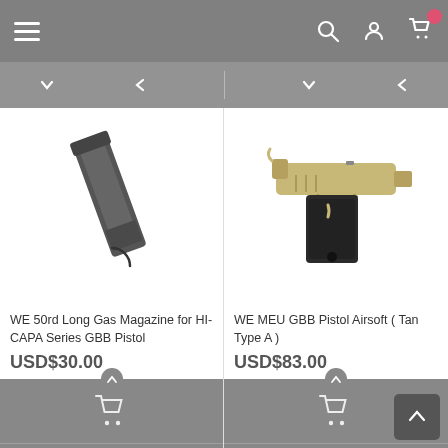Navigation bar with hamburger menu, search, account, and cart icons
[Figure (screenshot): WE 50rd Long Gas Magazine for HI-CAPA Series GBB Pistol - product image showing a black elongated magazine]
WE 50rd Long Gas Magazine for HI-CAPA Series GBB Pistol
USD$30.00
[Figure (screenshot): WE MEU GBB Pistol Airsoft ( Tan Type A ) - product image showing a tan/gold 1911-style pistol]
WE MEU GBB Pistol Airsoft ( Tan Type A )
USD$83.00